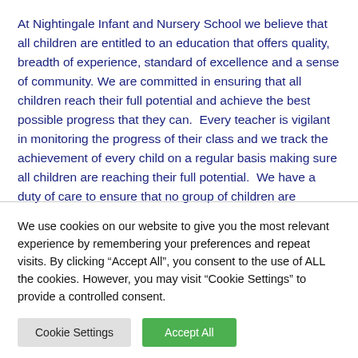At Nightingale Infant and Nursery School we believe that all children are entitled to an education that offers quality, breadth of experience, standard of excellence and a sense of community. We are committed in ensuring that all children reach their full potential and achieve the best possible progress that they can.  Every teacher is vigilant in monitoring the progress of their class and we track the achievement of every child on a regular basis making sure all children are reaching their full potential.  We have a duty of care to ensure that no group of children are disadvantaged due to gender,
We use cookies on our website to give you the most relevant experience by remembering your preferences and repeat visits. By clicking “Accept All”, you consent to the use of ALL the cookies. However, you may visit "Cookie Settings" to provide a controlled consent.